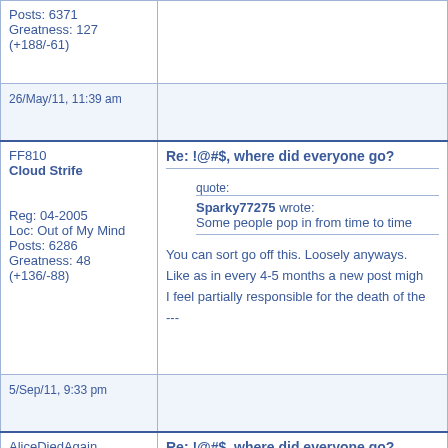| User Info | Post Content |
| --- | --- |
| Posts: 6371
Greatness: 127 (+188/-61) |  |
| 26/May/11, 11:39 am |  |
| FF810
Cloud Strife
Reg: 04-2005
Loc: Out of My Mind
Posts: 6286
Greatness: 48 (+136/-88) | Re: !@#$, where did everyone go?
quote:
Sparky77275 wrote:
Some people pop in from time to time
You can sort go off this. Loosely anyways.
Like as in every 4-5 months a new post migh
I feel partially responsible for the death of the
--- |
| 5/Sep/11, 9:33 pm |  |
| AliceDiedAgain
Omniclash | Re: !@#$, where did everyone go? |